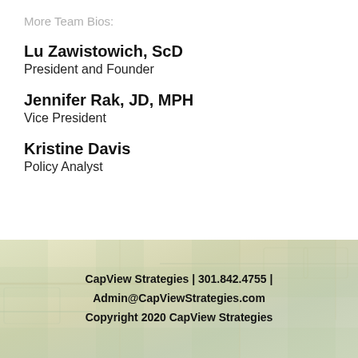More Team Bios:
Lu Zawistowich, ScD
President and Founder
Jennifer Rak, JD, MPH
Vice President
Kristine Davis
Policy Analyst
CapView Strategies | 301.842.4755 | Admin@CapViewStrategies.com
Copyright 2020 CapView Strategies